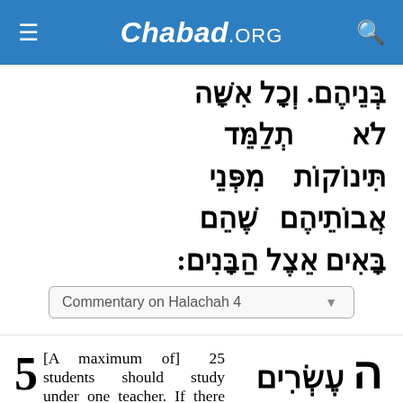Chabad.ORG
בְּנֵיהֶם. וְכָל אִשָּׁה לֹא תְלַמֵּד תִּינוֹקוֹת מִפְּנֵי אֲבוֹתֵיהֶם שֶׁהֵם בָּאִים אֵצֶל הַבָּנִים:
Commentary on Halachah 4
5 [A maximum of] 25 students should study under one teacher. If there are
ה עֶשְׂרִים וַחֲמִשָּׁה